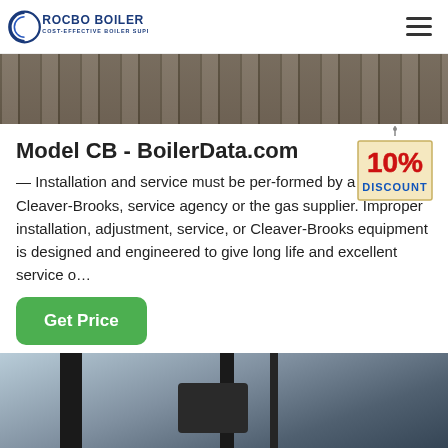ROCBO BOILER — COST-EFFECTIVE BOILER SUPPLIER
[Figure (photo): Industrial boiler equipment photo, top strip — dark metal frames and structure]
Model CB - BoilerData.com
[Figure (other): 10% DISCOUNT badge graphic — red and blue text on beige tag shape with hanging string]
— Installation and service must be per-formed by a qualified Cleaver-Brooks, service agency or the gas supplier. Improper installation, adjustment, service, or Cleaver-Brooks equipment is designed and engineered to give long life and excellent service o…
[Figure (photo): Industrial boiler equipment photo, bottom strip — dark vertical pipes and metal housing against sky background]